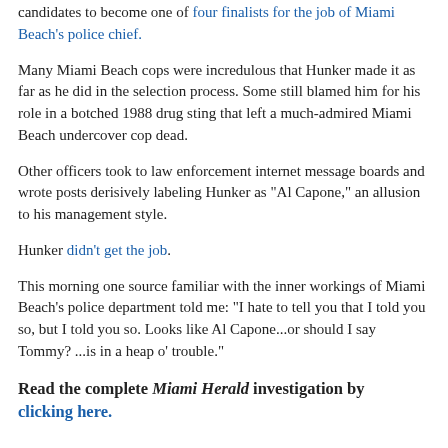candidates to become one of four finalists for the job of Miami Beach's police chief.
Many Miami Beach cops were incredulous that Hunker made it as far as he did in the selection process. Some still blamed him for his role in a botched 1988 drug sting that left a much-admired Miami Beach undercover cop dead.
Other officers took to law enforcement internet message boards and wrote posts derisively labeling Hunker as "Al Capone," an allusion to his management style.
Hunker didn't get the job.
This morning one source familiar with the inner workings of Miami Beach's police department told me: "I hate to tell you that I told you so, but I told you so. Looks like Al Capone...or should I say Tommy? ...is in a heap o' trouble."
Read the complete Miami Herald investigation by clicking here.